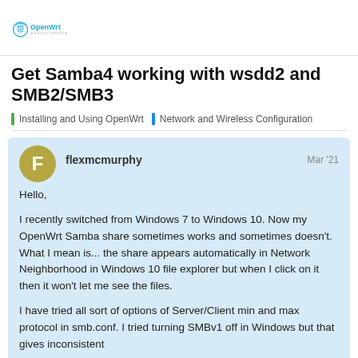[Figure (logo): OpenWrt logo with WiFi symbol icon and text 'OpenWrt WIRELESS FREEDOM']
Get Samba4 working with wsdd2 and SMB2/SMB3
Installing and Using OpenWrt | Network and Wireless Configuration
flexmcmurphy
Mar '21

Hello,

I recently switched from Windows 7 to Windows 10. Now my OpenWrt Samba share sometimes works and sometimes doesn't. What I mean is... the share appears automatically in Network Neighborhood in Windows 10 file explorer but when I click on it then it won't let me see the files.

I have tried all sort of options of Server/Client min and max protocol in smb.conf. I tried turning SMBv1 off in Windows but that gives inconsistent
1 / 6